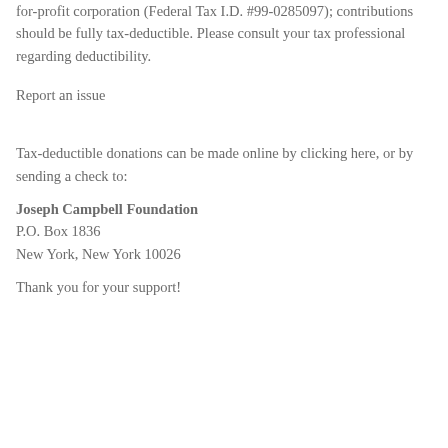for-profit corporation (Federal Tax I.D. #99-0285097); contributions should be fully tax-deductible. Please consult your tax professional regarding deductibility.
Report an issue
Tax-deductible donations can be made online by clicking here, or by sending a check to:
Joseph Campbell Foundation
P.O. Box 1836
New York, New York 10026
Thank you for your support!